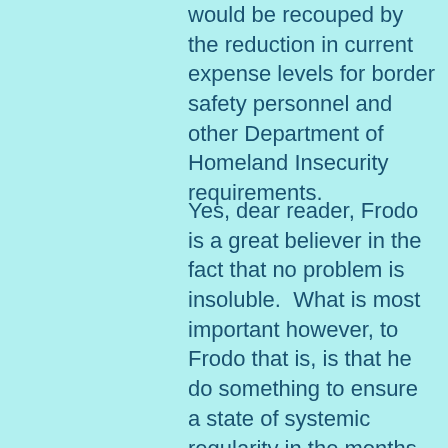would be recouped by the reduction in current expense levels for border safety personnel and other Department of Homeland Insecurity requirements.
Yes, dear reader, Frodo is a great believer in the fact that no problem is insoluble.  What is most important however, to Frodo that is, is that he do something to ensure a state of systemic regularity in the months to come.  Hobbits do not prosper on Milk of Magnesia and Maalox as dietary supplements.   Frodo does not look forward to another grumpy year.